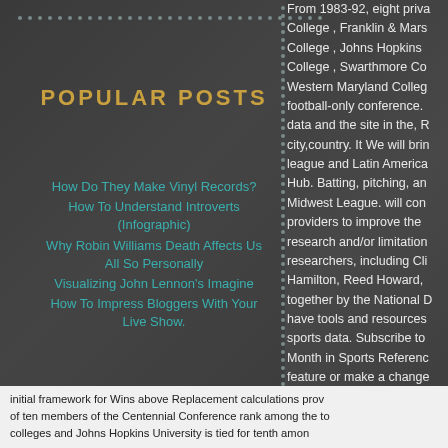POPULAR POSTS
How Do They Make Vinyl Records?
How To Understand Introverts (Infographic)
Why Robin Williams Death Affects Us All So Personally
Visualizing John Lennon's Imagine
How To Impress Bloggers With Your Live Show.
TWEETS
Tweets by @lisalagace
From 1983-92, eight priva College , Franklin & Mars College , Johns Hopkins College , Swarthmore Co Western Maryland Colleg football-only conference. data and the site in the, R city,country. It We will bri league and Latin America Hub. Batting, pitching, an Midwest League. will con providers to improve the research and/or limitation researchers, including Cli Hamilton, Reed Howard, together by the National D have tools and resources sports data. Subscribe to Month in Sports Referenc feature or make a change
initial framework for Wins above Replacement calculations prov of ten members of the Centennial Conference rank among the to colleges and Johns Hopkins University is tied for tenth amon